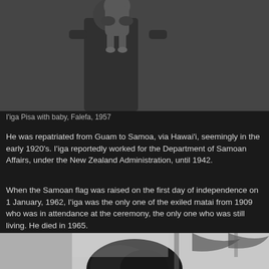[Figure (photo): Black and white photograph of I'iga Pisa holding a baby, Falefa, 1957]
I'iga Pisa with baby, Falefa, 1957
He was repatriated from Guam to Samoa, via Hawai'i, seemingly in the early 1920's. I'iga reportedly worked for the Department of Samoan Affairs, under the New Zealand Administration, until 1942.
When the Samoan flag was raised on the first day of independence on 1 January, 1962, I'iga was the only one of the exiled matai from 1909 who was in attendance at the ceremony, the only one who was still living. He died in 1965.
[Figure (photo): Black and white photograph showing top of a person's head with palm trees in background]